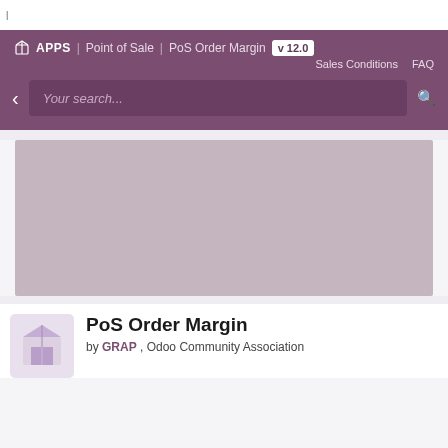|
[Figure (screenshot): Odoo Apps navigation header with purple background showing breadcrumb: APPS > Point of Sale > PoS Order Margin v12.0, with Sales Conditions and FAQ links, and a search bar below]
[Figure (photo): Gray placeholder image area for the PoS Order Margin app preview]
PoS Order Margin
by GRAP , Odoo Community Association